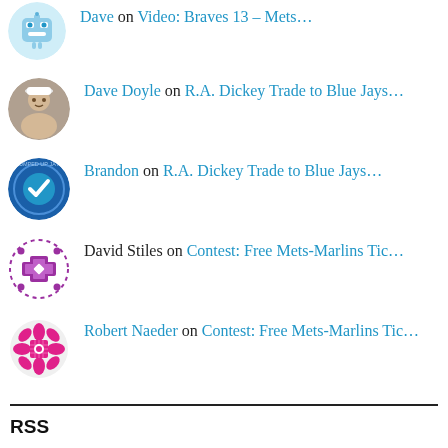Dave on Video: Braves 13 – Mets...
Dave Doyle on R.A. Dickey Trade to Blue Jays...
Brandon on R.A. Dickey Trade to Blue Jays...
David Stiles on Contest: Free Mets-Marlins Tic...
Robert Naeder on Contest: Free Mets-Marlins Tic...
RSS